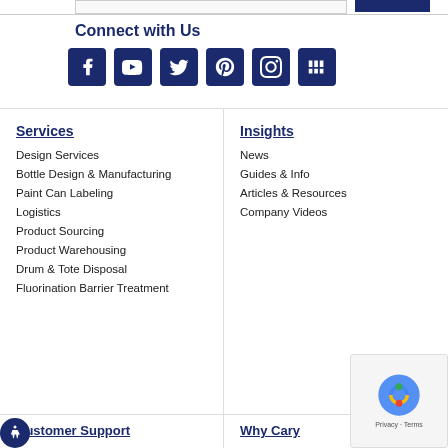Connect with Us
[Figure (illustration): Row of six social media icons (Facebook, YouTube, Twitter, Pinterest, Instagram, and a sixth icon) on dark navy blue square backgrounds]
Services
Design Services
Bottle Design & Manufacturing
Paint Can Labeling
Logistics
Product Sourcing
Product Warehousing
Drum & Tote Disposal
Fluorination Barrier Treatment
Insights
News
Guides & Info
Articles & Resources
Company Videos
Customer Support
Why Cary